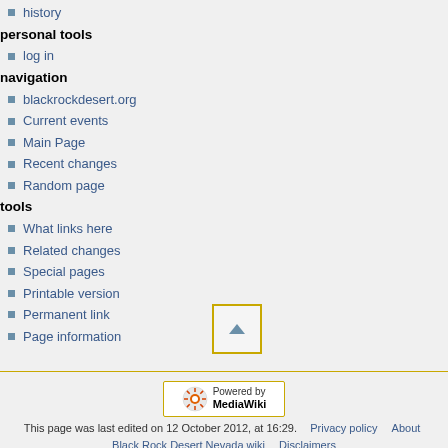history
personal tools
log in
navigation
blackrockdesert.org
Current events
Main Page
Recent changes
Random page
tools
What links here
Related changes
Special pages
Printable version
Permanent link
Page information
[Figure (other): Scroll to top button with upward triangle arrow]
[Figure (logo): Powered by MediaWiki badge]
This page was last edited on 12 October 2012, at 16:29. Privacy policy About Black Rock Desert Nevada wiki Disclaimers